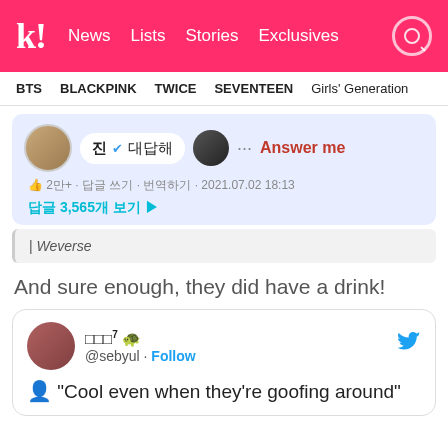k! News Lists Stories Exclusives
BTS  BLACKPINK  TWICE  SEVENTEEN  Girls' Generation
[Figure (screenshot): Weverse post from 진 (Jin) asking to answer, with 2만+ likes, 답글 쓰기, 번역하기, dated 2021.07.02 18:13, and 답글 3,565개 보기]
| Weverse
And sure enough, they did have a drink!
[Figure (screenshot): Tweet from @sebyul showing group photo, with text: "Cool even when they're goofing around"]